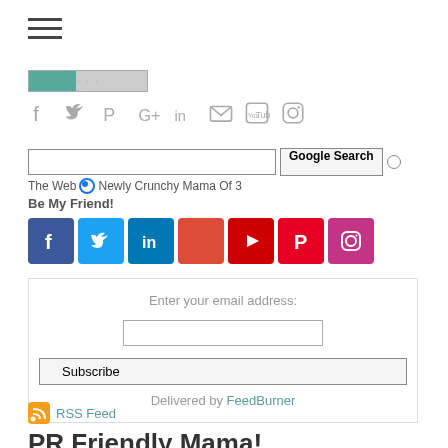[Figure (infographic): Hamburger menu icon (three horizontal lines)]
[Figure (infographic): Logo/banner strip with green and grey elements]
[Figure (infographic): Gray social media icons row: Facebook, Twitter, Pinterest, Google+, LinkedIn, Email, YouTube, Instagram]
[Figure (infographic): Google Search bar with radio buttons for The Web and Newly Crunchy Mama Of 3]
The Web  Newly Crunchy Mama Of 3
Be My Friend!
[Figure (infographic): Colored social media icon buttons: Facebook (blue), Twitter (light blue), LinkedIn (dark blue), Google+/red square, YouTube (red), Pinterest (red), Instagram (pink/purple)]
[Figure (infographic): Email subscription box with input field, Subscribe button, and Delivered by FeedBurner text]
Delivered by FeedBurner
[Figure (infographic): RSS Feed icon (orange square with wifi symbol) and RSS Feed link]
PR Friendly Mama!